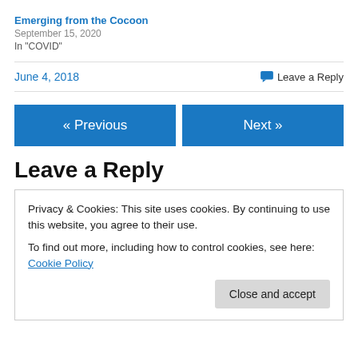Emerging from the Cocoon
September 15, 2020
In "COVID"
June 4, 2018
Leave a Reply
« Previous
Next »
Leave a Reply
Privacy & Cookies: This site uses cookies. By continuing to use this website, you agree to their use.
To find out more, including how to control cookies, see here: Cookie Policy
Close and accept